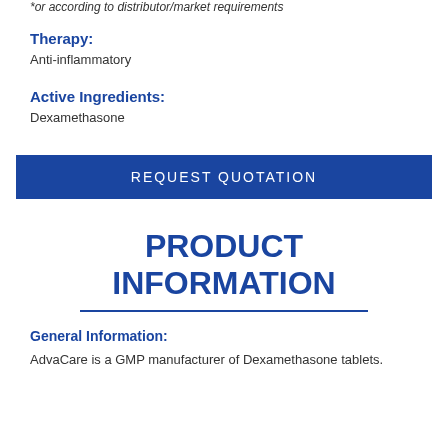*or according to distributor/market requirements
Therapy:
Anti-inflammatory
Active Ingredients:
Dexamethasone
REQUEST QUOTATION
PRODUCT INFORMATION
General Information:
AdvaCare is a GMP manufacturer of Dexamethasone tablets.